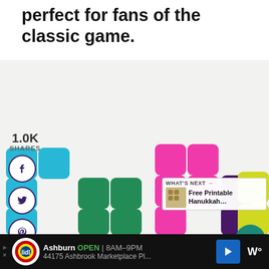perfect for fans of the classic game.
1.0K
SHARES
[Figure (photo): Colorful Tetris-shaped soap or candy blocks arranged like a Tetris game board on a white background. Colors include cyan/blue, green, pink, dark purple, and yellow.]
WHAT'S NEXT → Free Printable Hanukkah...
1K
Ashburn OPEN 8AM–9PM 44175 Ashbrook Marketplace Pl...